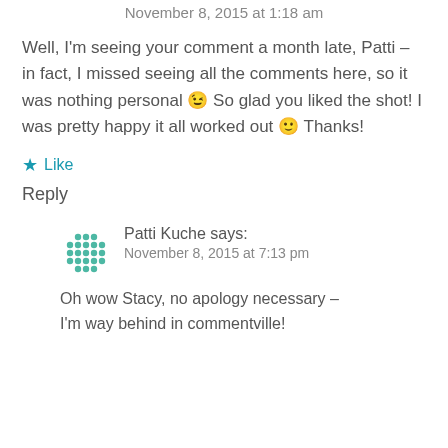November 8, 2015 at 1:18 am
Well, I'm seeing your comment a month late, Patti – in fact, I missed seeing all the comments here, so it was nothing personal 😉 So glad you liked the shot! I was pretty happy it all worked out 🙂 Thanks!
Like
Reply
Patti Kuche says:
November 8, 2015 at 7:13 pm
Oh wow Stacy, no apology necessary – I'm way behind in commentville!